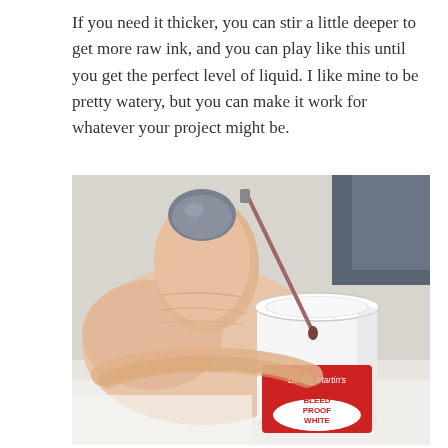If you need it thicker, you can stir a little deeper to get more raw ink, and you can play like this until you get the perfect level of liquid. I like mine to be pretty watery, but you can make it work for whatever your project might be.
[Figure (photo): A hand holding a thin paintbrush being dipped into a small white cylindrical jar of Dr. Ph. Martin's Bleed Proof White ink. The thumb has grey nail polish. The jar has a red and white label visible on the side.]